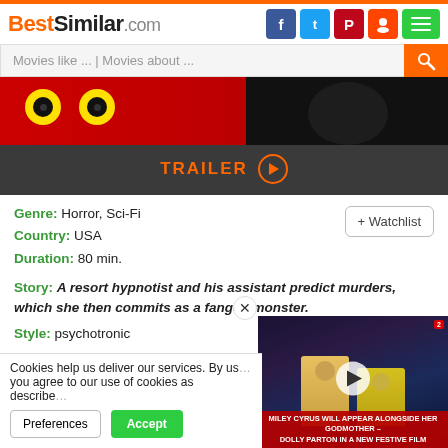BestSimilar.com
[Figure (screenshot): Movie thumbnail showing cartoon eyes on red background and dark figure on right]
TRAILER ▶
Genre: Horror, Sci-Fi
Country: USA
Duration: 80 min.
Story: A resort hypnotist and his assistant predict murders, which she then commits as a fanged monster.
Style: psychotronic
Plot: reincarnation, monster, murd... aquatic humanoid, hypnosis, rock b...
Cookies help us deliver our services. By us... you agree to our use of cookies as describe...
MILEY CYRUS WILL APPEAR ALONGSIDE HER GODMOTHER – DOLLY PARTON IN A NEW FESTIVE FILM
[Figure (screenshot): Video overlay showing two performers on stage, one in gold outfit, with news caption about Miley Cyrus and Dolly Parton]